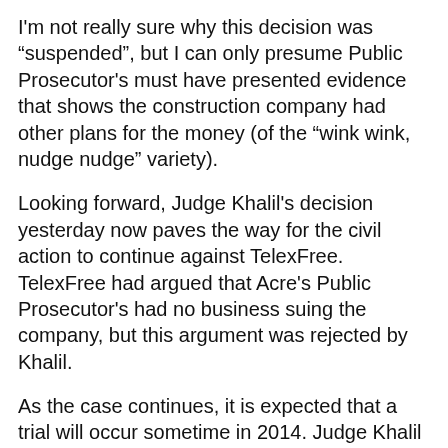I'm not really sure why this decision was “suspended”, but I can only presume Public Prosecutor's must have presented evidence that shows the construction company had other plans for the money (of the “wink wink, nudge nudge” variety).
Looking forward, Judge Khalil's decision yesterday now paves the way for the civil action to continue against TelexFree. TelexFree had argued that Acre's Public Prosecutor's had no business suing the company, but this argument was rejected by Khalil.
As the case continues, it is expected that a trial will occur sometime in 2014. Judge Khalil is currently going through over 40,000 documents of evidence Acre's Public Prosecutors have provided her for review.
Personally I think yesterday’s decision sends a pretty clear signal a to how Judge Khalil sees the case. It would appear the issue of whether or not TelexFree is a Ponzi scheme has been determined, now it's just a matter of putting